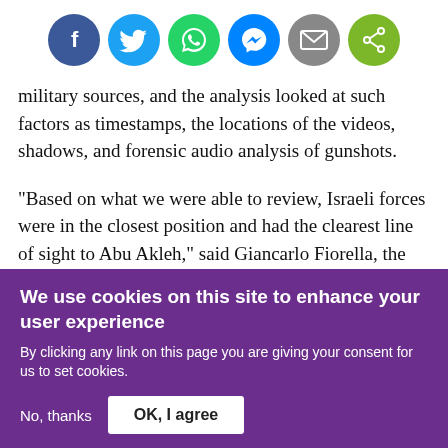[Figure (infographic): Six social media sharing icon circles: Facebook (dark blue), Twitter (light blue), WhatsApp (green), Messenger (blue), Email (gray), Share (green)]
military sources, and the analysis looked at such factors as timestamps, the locations of the videos, shadows, and forensic audio analysis of gunshots.
"Based on what we were able to review, Israeli forces were in the closest position and had the clearest line of sight to Abu Akleh," said Giancarlo Fiorella, the lead researcher of the analysis.
We use cookies on this site to enhance your user experience
By clicking any link on this page you are giving your consent for us to set cookies.